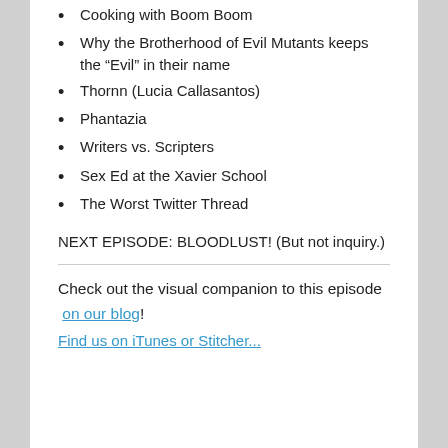Cooking with Boom Boom
Why the Brotherhood of Evil Mutants keeps the “Evil” in their name
Thornn (Lucia Callasantos)
Phantazia
Writers vs. Scripters
Sex Ed at the Xavier School
The Worst Twitter Thread
NEXT EPISODE: BLOODLUST! (But not inquiry.)
Check out the visual companion to this episode on our blog!
Find us on iTunes or Stitcher...